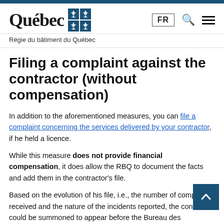Québec — Régie du bâtiment du Québec
Filing a complaint against the contractor (without compensation)
In addition to the aforementioned measures, you can file a complaint concerning the services delivered by your contractor, if he held a licence.
While this measure does not provide financial compensation, it does allow the RBQ to document the facts and add them in the contractor's file.
Based on the evolution of his file, i.e., the number of complaints received and the nature of the incidents reported, the contractor could be summoned to appear before the Bureau des régisseurs for a decision on